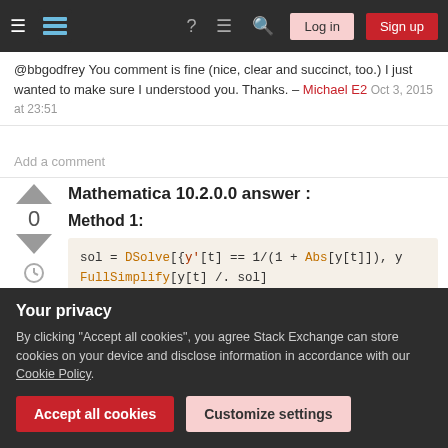Stack Exchange navigation bar with hamburger menu, logo, help, chat, search icons, Log in and Sign up buttons
@bbgodfrey You comment is fine (nice, clear and succinct, too.) I just wanted to make sure I understood you. Thanks. – Michael E2  Oct 3, 2015 at 23:51
Add a comment
Mathematica 10.2.0.0 answer :
Method 1:
sol = DSolve[{y'[t] == 1/(1 + Abs[y[t]]), y
FullSimplify[y[t] /. sol]
Your privacy
By clicking "Accept all cookies", you agree Stack Exchange can store cookies on your device and disclose information in accordance with our Cookie Policy.